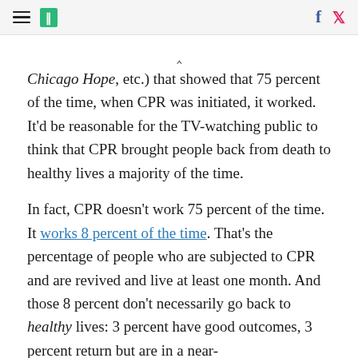HuffPost navigation with hamburger menu, logo, Facebook and Twitter icons
Chicago Hope, etc.) that showed that 75 percent of the time, when CPR was initiated, it worked. It'd be reasonable for the TV-watching public to think that CPR brought people back from death to healthy lives a majority of the time.
In fact, CPR doesn't work 75 percent of the time. It works 8 percent of the time. That's the percentage of people who are subjected to CPR and are revived and live at least one month. And those 8 percent don't necessarily go back to healthy lives: 3 percent have good outcomes, 3 percent return but are in a near-